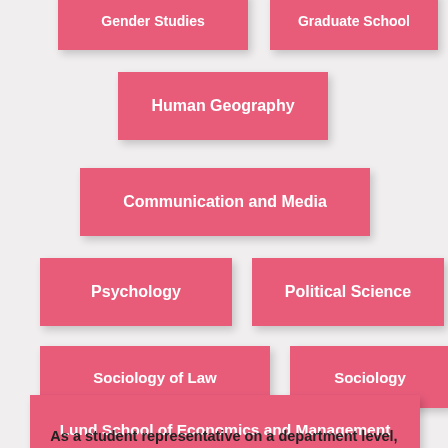[Figure (infographic): Organizational/hierarchical infographic showing department and school boxes: Gender Studies, Graduate School (top row, partially cut off), Human Geography (centered), Communication and Media (wide, centered), Psychology and Political Science (side by side), Sociology of Law and Sociology (side by side), Lund School of Economics and Management (wide, bottom)]
As a student representative on a department level,